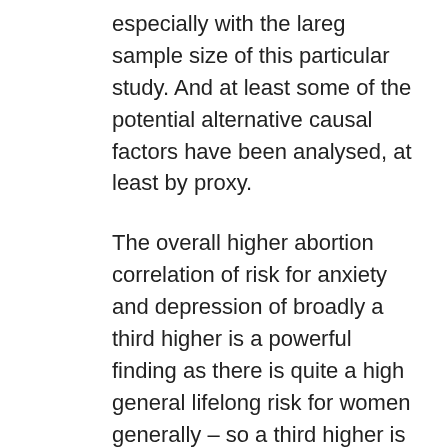especially with the lareg sample size of this particular study. And at least some of the potential alternative causal factors have been analysed, at least by proxy.
The overall higher abortion correlation of risk for anxiety and depression of broadly a third higher is a powerful finding as there is quite a high general lifelong risk for women generally – so a third higher is quite significant irrespective of any other possible alternative causal factors.
The 55% higher risk for mental health issues on abortion versus unplanned pregnancy carried to term is very powerful as the latter group is that which would be expected to seriously consider an